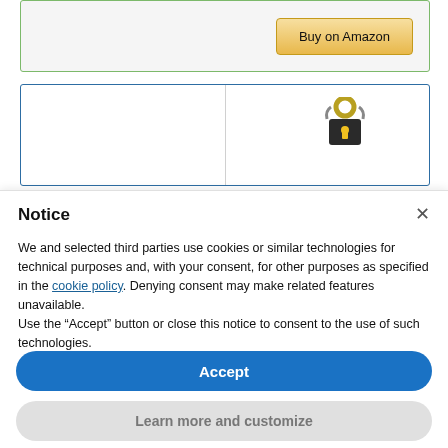[Figure (screenshot): Partial product card with green border and 'Buy on Amazon' button]
[Figure (screenshot): Partial product card with blue border and a lock/chain image on the right half]
Notice
We and selected third parties use cookies or similar technologies for technical purposes and, with your consent, for other purposes as specified in the cookie policy. Denying consent may make related features unavailable.
Use the “Accept” button or close this notice to consent to the use of such technologies.
Accept
Learn more and customize